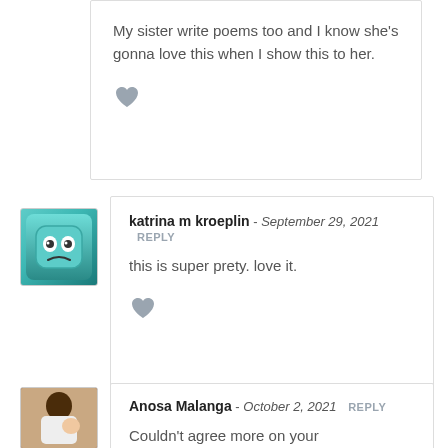My sister write poems too and I know she's gonna love this when I show this to her.
katrina m kroeplin - September 29, 2021
this is super prety. love it.
Anosa Malanga - October 2, 2021
Couldn't agree more on your